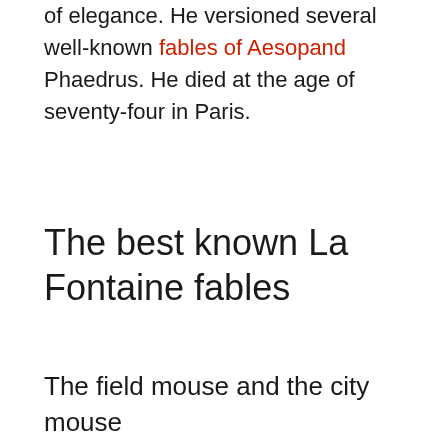of elegance. He versioned several well-known fables of Aesopand Phaedrus. He died at the age of seventy-four in Paris.
The best known La Fontaine fables
The field mouse and the city mouse